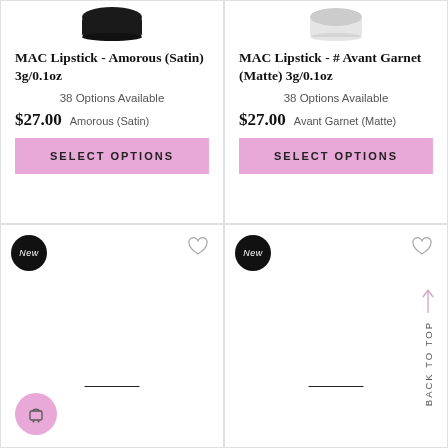[Figure (photo): MAC lipstick product image - dark container, top half visible]
MAC Lipstick - Amorous (Satin) 3g/0.1oz
38 Options Available
$27.00  Amorous (Satin)
SELECT OPTIONS
[Figure (photo): MAC lipstick product image - light/blurred container, top half visible]
MAC Lipstick - # Avant Garnet (Matte) 3g/0.1oz
38 Options Available
$27.00  Avant Garnet (Matte)
SELECT OPTIONS
[Figure (other): New badge (black circle with 'New'), heart icon, product placeholder area with divider line, cart FAB button (pink circle)]
[Figure (other): New badge (black circle with 'New'), heart icon, product placeholder area with divider line, Back to Top arrow and text]